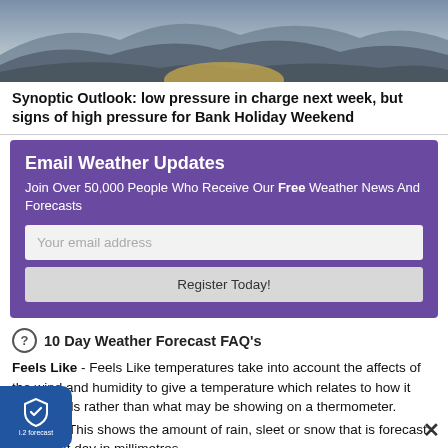[Figure (photo): Landscape photo showing blue-grey mountain silhouettes with a misty sky background]
Synoptic Outlook: low pressure in charge next week, but signs of high pressure for Bank Holiday Weekend
Email Weather Updates
Join Over 50,000 People Who Receive Our Free Weather News And Forecasts
10 Day Weather Forecast FAQ's
Feels Like - Feels Like temperatures take into account the affects of the wind and humidity to give a temperature which relates to how it actual feels rather than what may be showing on a thermometer.
Total Prec - This shows the amount of rain, sleet or snow that is forecast to fall that day in millimetres.